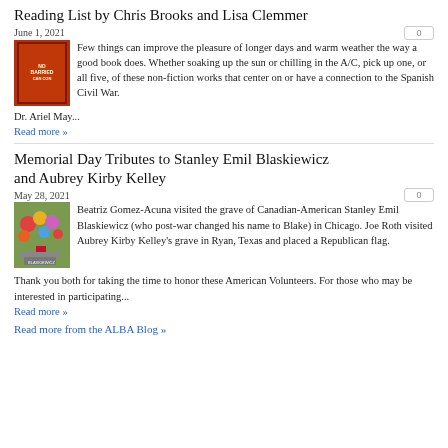Reading List by Chris Brooks and Lisa Clemmer
June 1, 2021
[Figure (photo): Book cover for 'No Barriers' with red background]
Few things can improve the pleasure of longer days and warm weather the way a good book does. Whether soaking up the sun or chilling in the A/C, pick up one, or all five, of these non-fiction works that center on or have a connection to the Spanish Civil War.   Dr. Ariel May...
Read more »
Memorial Day Tributes to Stanley Emil Blaskiewicz and Aubrey Kirby Kelley
May 28, 2021
[Figure (photo): Flowers and flags at a grave marker]
Beatriz Gomez-Acuna visited the grave of Canadian-American Stanley Emil Blaskiewicz (who post-war changed his name to Blake) in Chicago. Joe Roth visited Aubrey Kirby Kelley's grave in Ryan, Texas and placed a Republican flag. Thank you both for taking the time to honor these American Volunteers. For those who may be interested in participating...
Read more »
Read more from the ALBA Blog »